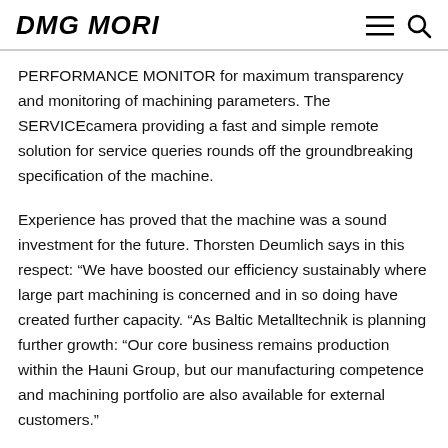DMG MORI
PERFORMANCE MONITOR for maximum transparency and monitoring of machining parameters. The SERVICEcamera providing a fast and simple remote solution for service queries rounds off the groundbreaking specification of the machine.
Experience has proved that the machine was a sound investment for the future. Thorsten Deumlich says in this respect: “We have boosted our efficiency sustainably where large part machining is concerned and in so doing have created further capacity. “As Baltic Metalltechnik is planning further growth: “Our core business remains production within the Hauni Group, but our manufacturing competence and machining portfolio are also available for external customers.”